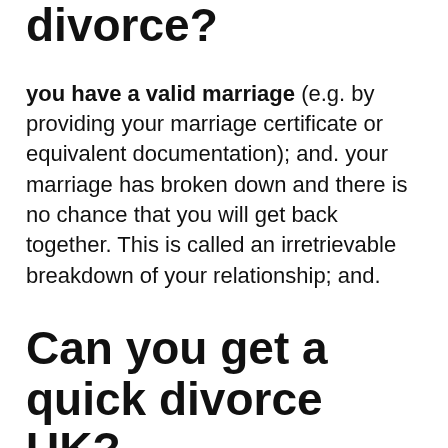divorce?
you have a valid marriage (e.g. by providing your marriage certificate or equivalent documentation); and. your marriage has broken down and there is no chance that you will get back together. This is called an irretrievable breakdown of your relationship; and.
Can you get a quick divorce UK?
An uncontested divorce is the quickest and most common kind of divorce. Over 99% of all divorces and dissolutions in England or Wales are uncontested. Being organised and diligent when completing the divorce forms